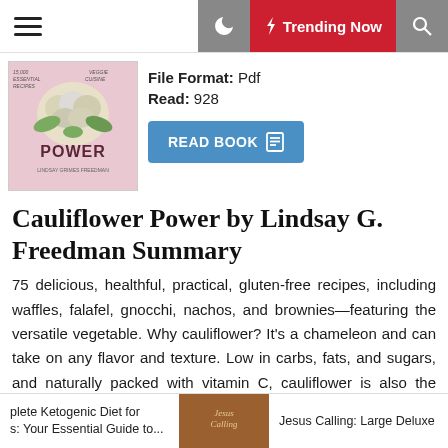☰  🌙  ⚡ Trending Now  🔍
[Figure (photo): Book cover of Cauliflower Power by Lindsay Grimes Freedman, pink background with cauliflower image]
File Format: Pdf
Read: 928
READ BOOK
Cauliflower Power by Lindsay G. Freedman Summary
75 delicious, healthful, practical, gluten-free recipes, including waffles, falafel, gnocchi, nachos, and brownies—featuring the versatile vegetable. Why cauliflower? It's a chameleon and can take on any flavor and texture. Low in carbs, fats, and sugars, and naturally packed with vitamin C, cauliflower is also the super-est of all superfoods. In her first cookbook, food blogger and recipe developer Lindsay Grimes Freedman shares delicious, healthful, and practical recipes for this versatile veggie. With more than 75
plete Ketogenic Diet for s: Your Essential Guide to...  |  [book image]  |  Jesus Calling: Large Deluxe